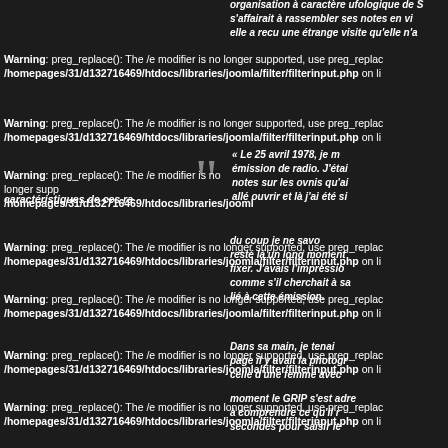organisation à caractère ufologique de S... s'affairait à rassembler ses notes en v... elle a recu une étrange visite qu'elle n'a...
Warning: preg_replace(): The /e modifier is no longer supported, use preg_replace_e... /homepages/31/d132716469/htdocs/libraries/joomla/filter/filterinput.php on li...
Warning: preg_replace(): The /e modifier is no longer supported, use preg_replace... /homepages/31/d132716469/htdocs/libraries/joomla/filter/filterinput.php on li...
« Le 25 avril 1978, je m... emission de radio. J'etai... notes sur les ovnis qu'a... allé ouvrir et là j'ai été si...
Warning: preg_replace(): The /e modifier is no longer supported, use preg_replace... /homepages/31/d132716469/htdocs/libraries/joomla/filter/filterinput.php on li...
Warning: preg_replace(): The /e modifier is no longer supported, use preg_replace... /homepages/31/d132716469/htdocs/libraries/joomla/filter/filterinput.php on li...
du coup je ne savo... resté là un long moment... fixer. J'avais l'impressio... comme s'il cherchait à sa... lié à cette émission.
Warning: preg_replace(): The /e modifier is no longer supported, use preg_replace... /homepages/31/d132716469/htdocs/libraries/joomla/filter/filterinput.php on li...
Warning: preg_replace(): The /e modifier is no longer supported, use preg_replace... /homepages/31/d132716469/htdocs/libraries/joomla/filter/filterinput.php on li...
Dans sa main, je tenai... page il y avait la photogr... celle d'une femme avec... moment le GRIP s'est adre... à comprendre ce qu'il r... secondes pour saisir le...
Warning: preg_replace(): The /e modifier is no longer supported, use preg_replace... /homepages/31/d132716469/htdocs/libraries/joomla/filter/filterinput.php on li...
Warning: preg_replace(): The /e modifier is no longer supported, use preg_replace... /homepages/31/d132716469/htdocs/libraries/joomla/filter/filterinput.php on li...